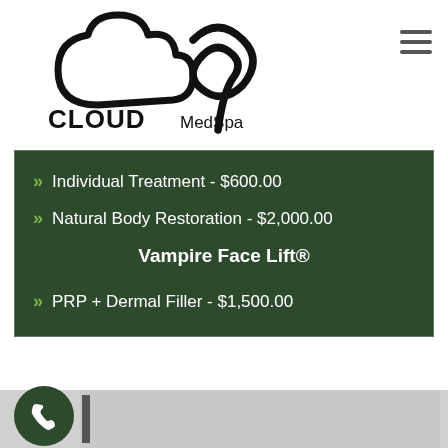[Figure (logo): Cloud 9 MedSpa logo with stylized cloud and 9D shape in black, text CLOUD MedSpa]
Individual Treatment - $600.00
Natural Body Restoration - $2,000.00
Vampire Face Lift®
PRP + Dermal Filler - $1,500.00
[Figure (photo): Bottom section with phone call button circle icon and partial image]